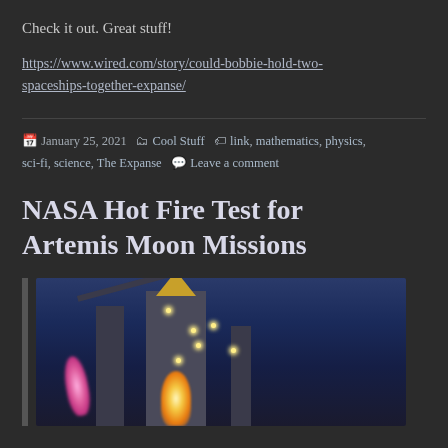Check it out. Great stuff!
https://www.wired.com/story/could-bobbie-hold-two-spaceships-together-expanse/
January 25, 2021  Cool Stuff  link, mathematics, physics, sci-fi, science, The Expanse  Leave a comment
NASA Hot Fire Test for Artemis Moon Missions
[Figure (photo): Nighttime photo of a rocket launch test with bright yellow-white flames from the main engine and pink/purple flame from a secondary source, with launch tower structure silhouetted against a dark blue sky]